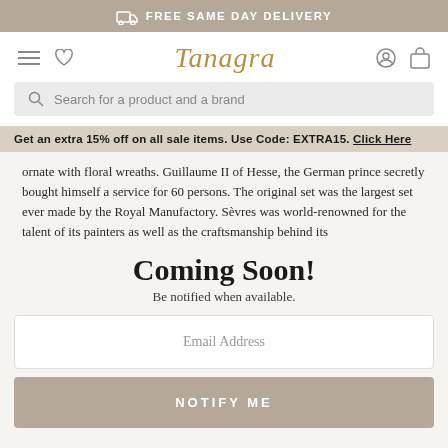FREE SAME DAY DELIVERY
[Figure (screenshot): Tanagra logo navigation bar with hamburger menu, heart icon, user icon, and bag icon]
Search for a product and a brand
Get an extra 15% off on all sale items. Use Code: EXTRA15. Click Here
ornate with floral wreaths. Guillaume II of Hesse, the German prince secretly bought himself a service for 60 persons. The original set was the largest set ever made by the Royal Manufactory. Sèvres was world-renowned for the talent of its painters as well as the craftsmanship behind its
Coming Soon!
Be notified when available.
Email Address
NOTIFY ME